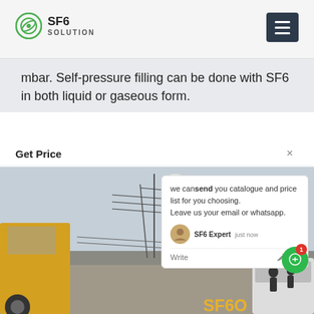SF6 SOLUTION
mbar. Self-pressure filling can be done with SF6 in both liquid or gaseous form.
Get Price
[Figure (photo): Outdoor electrical substation with high-voltage transmission towers and power lines, with a yellow truck visible on the left side and workers on the right near a white vehicle.]
we can send you catalogue and price list for you choosing. Leave us your email or whatsapp.
SF6 Expert  just now
Write